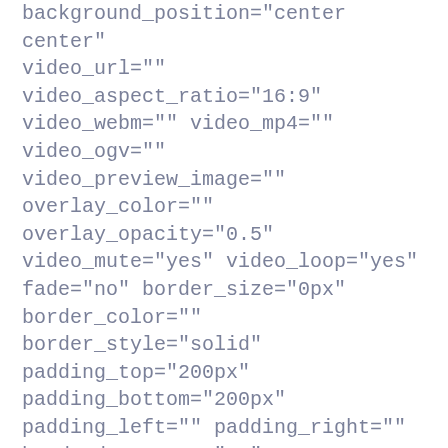background_position="center center" video_url="" video_aspect_ratio="16:9" video_webm="" video_mp4="" video_ogv="" video_preview_image="" overlay_color="" overlay_opacity="0.5" video_mute="yes" video_loop="yes" fade="no" border_size="0px" border_color="" border_style="solid" padding_top="200px" padding_bottom="200px" padding_left="" padding_right="" hundred_percent="no" equal_height_columns="no" hide_on_mobile="no" menu_anchor=""